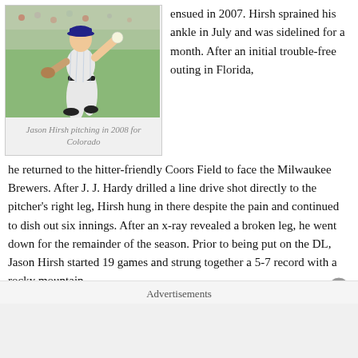[Figure (photo): Jason Hirsh pitching in a white pinstripe uniform, mid-delivery motion on a baseball field]
Jason Hirsh pitching in 2008 for Colorado
ensued in 2007. Hirsh sprained his ankle in July and was sidelined for a month. After an initial trouble-free outing in Florida, he returned to the hitter-friendly Coors Field to face the Milwaukee Brewers. After J. J. Hardy drilled a line drive shot directly to the pitcher's right leg, Hirsh hung in there despite the pain and continued to dish out six innings. After an x-ray revealed a broken leg, he went down for the remainder of the season. Prior to being put on the DL, Jason Hirsh started 19 games and strung together a 5-7 record with a rocky mountain
Advertisements